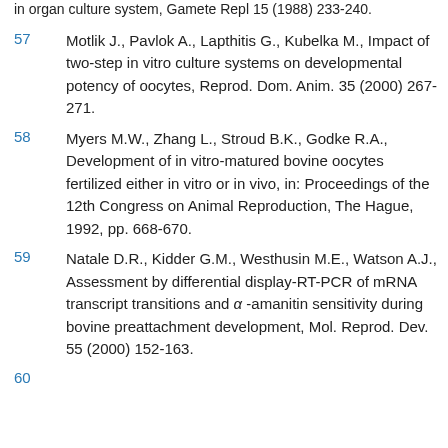in organ culture system, Gamete Repl 15 (1988) 233-240.
57   Motlik J., Pavlok A., Lapthitis G., Kubelka M., Impact of two-step in vitro culture systems on developmental potency of oocytes, Reprod. Dom. Anim. 35 (2000) 267-271.
58   Myers M.W., Zhang L., Stroud B.K., Godke R.A., Development of in vitro-matured bovine oocytes fertilized either in vitro or in vivo, in: Proceedings of the 12th Congress on Animal Reproduction, The Hague, 1992, pp. 668-670.
59   Natale D.R., Kidder G.M., Westhusin M.E., Watson A.J., Assessment by differential display-RT-PCR of mRNA transcript transitions and α-amanitin sensitivity during bovine preattachment development, Mol. Reprod. Dev. 55 (2000) 152-163.
60